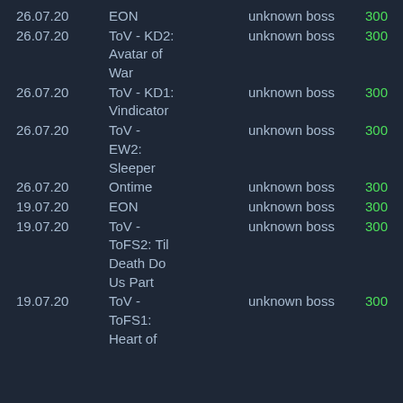| Date | Name | Type | Score |
| --- | --- | --- | --- |
| 26.07.20 | EON | unknown boss | 300 |
| 26.07.20 | ToV - KD2: Avatar of War | unknown boss | 300 |
| 26.07.20 | ToV - KD1: Vindicator | unknown boss | 300 |
| 26.07.20 | ToV - EW2: Sleeper | unknown boss | 300 |
| 26.07.20 | Ontime | unknown boss | 300 |
| 19.07.20 | EON | unknown boss | 300 |
| 19.07.20 | ToV - ToFS2: Til Death Do Us Part | unknown boss | 300 |
| 19.07.20 | ToV - ToFS1: Heart of | unknown boss | 300 |